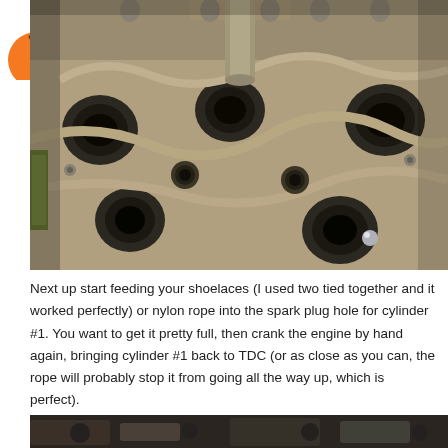[Figure (photo): Close-up photograph of an engine cylinder head showing valves, valve springs, camshaft lobes, and metal engine components in a gold/tan metallic finish with dark valve hardware visible.]
Next up start feeding your shoelaces (I used two tied together and it worked perfectly) or nylon rope into the spark plug hole for cylinder #1. You want to get it pretty full, then crank the engine by hand again, bringing cylinder #1 back to TDC (or as close as you can, the rope will probably stop it from going all the way up, which is perfect).
[Figure (photo): Partial view of engine components, dark background, bottom of page cropped.]